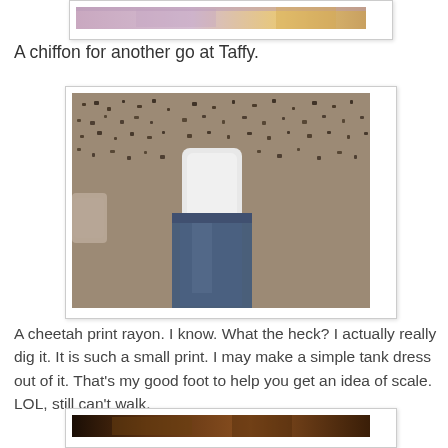[Figure (photo): Partial photo at top of page showing fabric or textile with pink/purple and tan tones, cropped at top]
A chiffon for another go at Taffy.
[Figure (photo): Photo of cheetah print rayon fabric laid flat on floor with person's white-socked foot and jeans visible for scale]
A cheetah print rayon. I know. What the heck? I actually really dig it. It is such a small print. I may make a simple tank dress out of it. That's my good foot to help you get an idea of scale. LOL, still can't walk.
[Figure (photo): Partial photo at bottom of page, cropped, showing dark brown tones]